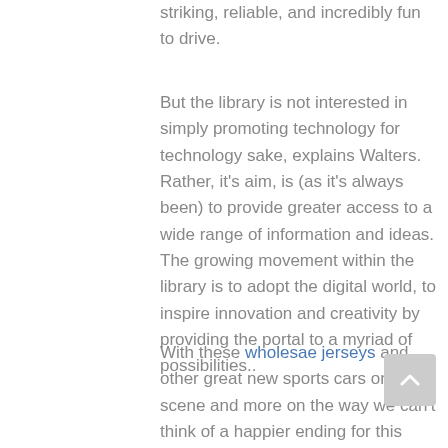striking, reliable, and incredibly fun to drive.
But the library is not interested in simply promoting technology for technology sake, explains Walters. Rather, it's aim, is (as it's always been) to provide greater access to a wide range of information and ideas. The growing movement within the library is to adopt the digital world, to inspire innovation and creativity by providing the portal to a myriad of possibilities..
With these wholesae jerseys and other great new sports cars on the scene and more on the way we can't think of a happier ending for this article. Whatever the future may